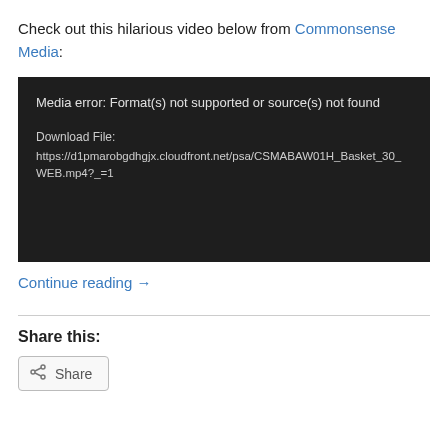Check out this hilarious video below from Commonsense Media:
[Figure (screenshot): Black video player box showing media error: 'Media error: Format(s) not supported or source(s) not found' with a download file link: https://d1pmarobgdhgjx.cloudfront.net/psa/CSMABAW01H_Basket_30_WEB.mp4?_=1]
Continue reading →
Share this:
Share